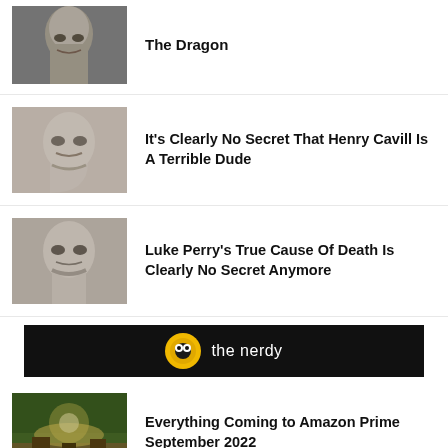The Dragon
It's Clearly No Secret That Henry Cavill Is A Terrible Dude
Luke Perry's True Cause Of Death Is Clearly No Secret Anymore
[Figure (logo): The Nerdy logo banner - black background with yellow circular icon and white text 'the nerdy']
Everything Coming to Amazon Prime September 2022